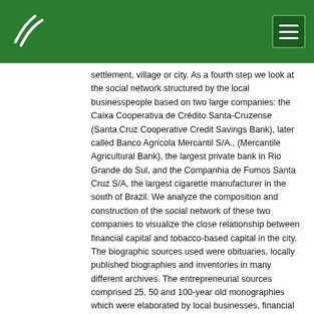settlement, village or city. As a fourth step we look at the social network structured by the local businesspeople based on two large companies: the Caixa Cooperativa de Crédito Santa-Cruzense (Santa Cruz Cooperative Credit Savings Bank), later called Banco Agrícola Mercantil S/A., (Mercantile Agricultural Bank), the largest private bank in Rio Grande do Sul, and the Companhia de Fumos Santa Cruz S/A, the largest cigarette manufacturer in the south of Brazil. We analyze the composition and construction of the social network of these two companies to visualize the close relationship between financial capital and tobacco-based capital in the city. The biographic sources used were obituaries, locally published biographies and inventories in many different archives. The entrepreneurial sources comprised 25, 50 and 100-year old monographies which were elaborated by local businesses, financial balance